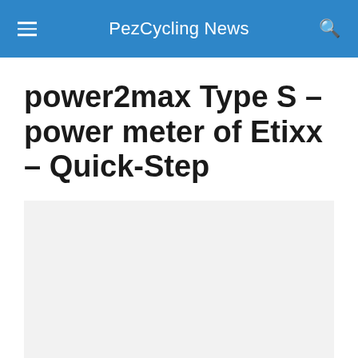PezCycling News
power2max Type S – power meter of Etixx – Quick-Step
[Figure (photo): Light gray placeholder image area below the article title]